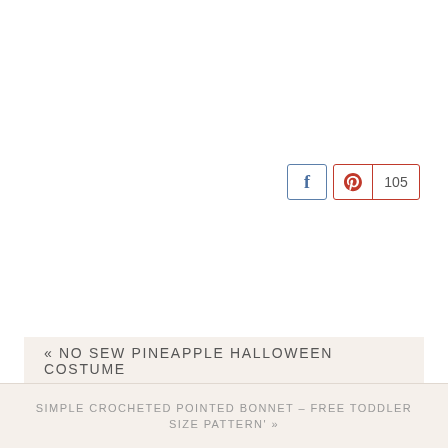[Figure (other): Social sharing buttons: Facebook share button and Pinterest save button showing count of 105]
« NO SEW PINEAPPLE HALLOWEEN COSTUME
SIMPLE CROCHETED POINTED BONNET – FREE TODDLER SIZE PATTERN' »